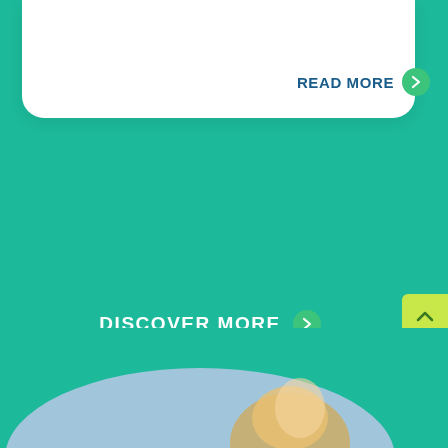[Figure (screenshot): White rounded card at the top of the page with a READ MORE button in dark blue bold text and a green circle arrow icon on the right side]
READ MORE
DISCOVER MORE
[Figure (illustration): Yellow-green back to top button with an upward chevron arrow on the right edge]
[Figure (photo): Bottom portion of a photo showing a person with blonde hair, partially visible, against a light background, cropped at the bottom of the page]